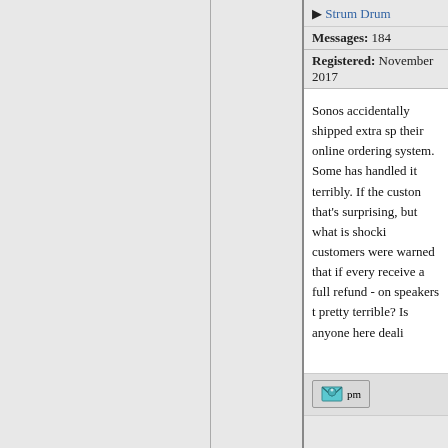Strum Drum
Messages: 184
Registered: November 2017
Sonos accidentally shipped extra sp... their online ordering system. Some... has handled it terribly. If the custon... that's surprising, but what is shocki... customers were warned that if every... receive a full refund - on speakers t... pretty terrible? Is anyone here deali...
[Figure (other): PM (private message) button icon with envelope graphic]
Re: Sonos speakers [message #95...